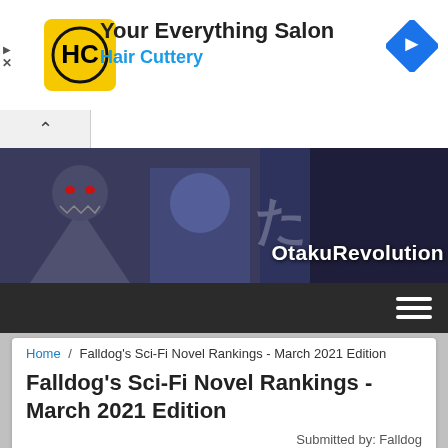[Figure (screenshot): Advertisement banner for Hair Cuttery salon with yellow/black HC logo, navigation arrow icon, play and close buttons on left side. Text reads: Your Everything Salon, Hair Cuttery]
[Figure (screenshot): Collapse/minimize bar with chevron up button]
[Figure (screenshot): OtakuRevolution website hero banner showing anime characters (armored figure with red eyes) and the site name OtakuRevolution in white text]
[Figure (screenshot): Dark navigation bar with hamburger menu icon (three white lines) on the right]
Home / Falldog's Sci-Fi Novel Rankings - March 2021 Edition
Falldog's Sci-Fi Novel Rankings - March 2021 Edition
Submitted by: Falldog on Fri, 08/28/2020 - 22:48